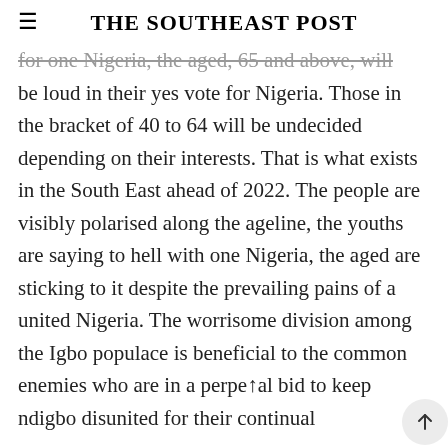THE SOUTHEAST POST
for one Nigeria, the aged, 65 and above, will be loud in their yes vote for Nigeria. Those in the bracket of 40 to 64 will be undecided depending on their interests. That is what exists in the South East ahead of 2022. The people are visibly polarised along the ageline, the youths are saying to hell with one Nigeria, the aged are sticking to it despite the prevailing pains of a united Nigeria. The worrisome division among the Igbo populace is beneficial to the common enemies who are in a perpetual bid to keep ndigbo disunited for their continual